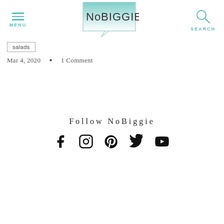MENU | NoBIGGIE logo | SEARCH
salads
Mar 4, 2020  •  1 Comment
Follow NoBiggie
[Figure (infographic): Social media icons: Facebook, Instagram, Pinterest, Twitter, YouTube]